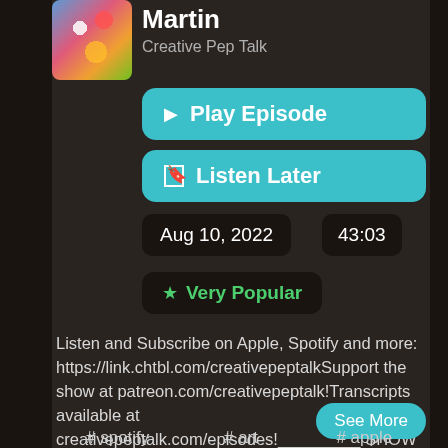[Figure (illustration): Podcast thumbnail image with colorful illustrated characters on rainbow background]
Martin
Creative Pep Talk
▶ Play Episode
☐ Listen Later
Aug 10, 2022
43:03
★ Very Popular
Listen and Subscribe on Apple, Spotify and more: https://link.chtbl.com/creativepeptalkSupport the show at patreon.com/creativepeptalk!Transcripts available at creativepeptalk.com/episodes!_________SHOW
See More
# spotify    # art    # apple